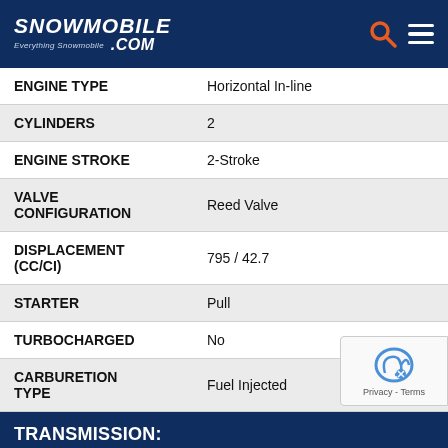Snowmobile.com Everything Snowmobile
| Specification | Value |
| --- | --- |
| ENGINE TYPE | Horizontal In-line |
| CYLINDERS | 2 |
| ENGINE STROKE | 2-Stroke |
| VALVE CONFIGURATION | Reed Valve |
| DISPLACEMENT (CC/CI) | 795 / 42.7 |
| STARTER | Pull |
| TURBOCHARGED | No |
| CARBURETION TYPE | Fuel Injected |
| TRANSMISSION: |  |
| REVERSE | Yes |
| TECHNICAL SPECIFICATIONS: |  |